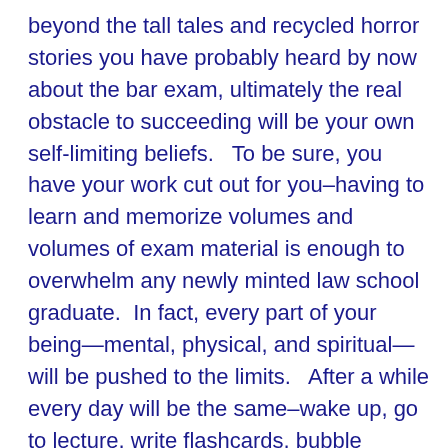beyond the tall tales and recycled horror stories you have probably heard by now about the bar exam, ultimately the real obstacle to succeeding will be your own self-limiting beliefs.   To be sure, you have your work cut out for you–having to learn and memorize volumes and volumes of exam material is enough to overwhelm any newly minted law school graduate.  In fact, every part of your being—mental, physical, and spiritual—will be pushed to the limits.   After a while every day will be the same–wake up, go to lecture, write flashcards, bubble circles, memorize the elements of murder, memorize New York distinctions, bubble circles, eat, write essay, lather, rinse, close eyes, and repeat.  However, my experience has taught me that despite the challenges of this exam, it certainly does not have supernatural powers.  Those who are successful maintain a positive outlook and a great